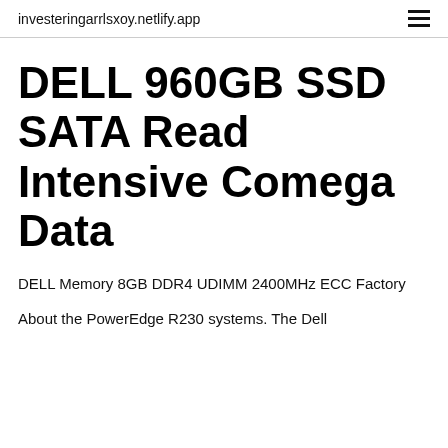investeringarrlsxoy.netlify.app
DELL 960GB SSD SATA Read Intensive Comega Data
DELL Memory 8GB DDR4 UDIMM 2400MHz ECC Factory
About the PowerEdge R230 systems. The Dell